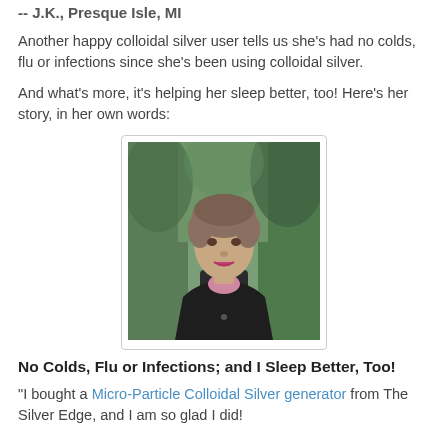-- J.K., Presque Isle, MI
Another happy colloidal silver user tells us she's had no colds, flu or infections since she's been using colloidal silver.
And what's more, it's helping her sleep better, too! Here's her story, in her own words:
[Figure (photo): Portrait photo of a middle-aged woman with short gray-brown hair wearing a dark jacket over a pink top, standing outdoors with trees in the background.]
No Colds, Flu or Infections; and I Sleep Better, Too!
“I bought a Micro-Particle Colloidal Silver generator from The Silver Edge, and I am so glad I did!